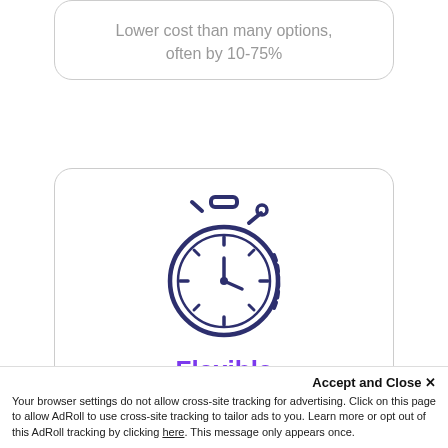Lower cost than many options, often by 10-75%
[Figure (illustration): Stopwatch / timer icon drawn in dark navy blue outline style]
Flexible
Pay back as you sell: No More cash pinch while waiting for sales revenue
Accept and Close ✕
Your browser settings do not allow cross-site tracking for advertising. Click on this page to allow AdRoll to use cross-site tracking to tailor ads to you. Learn more or opt out of this AdRoll tracking by clicking here. This message only appears once.